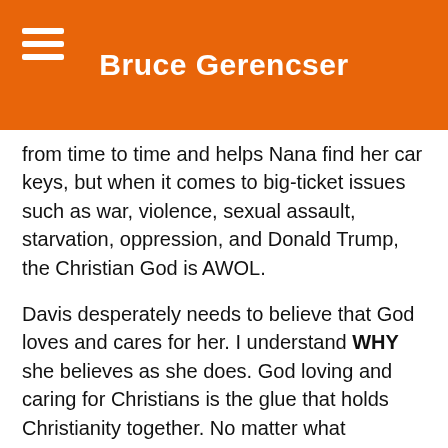Bruce Gerencser
from time to time and helps Nana find her car keys, but when it comes to big-ticket issues such as war, violence, sexual assault, starvation, oppression, and Donald Trump, the Christian God is AWOL.
Davis desperately needs to believe that God loves and cares for her. I understand WHY she believes as she does. God loving and caring for Christians is the glue that holds Christianity together. No matter what happens in their lives, Evangelicals believe that God is looking out for them and that “all things work together for good.” This thinking directly conflicts with reality — shit happens, life can suck,